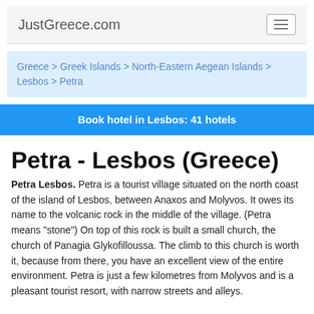JustGreece.com
Greece > Greek Islands > North-Eastern Aegean Islands > Lesbos > Petra
Book hotel in Lesbos: 41 hotels
Petra - Lesbos (Greece)
Petra Lesbos. Petra is a tourist village situated on the north coast of the island of Lesbos, between Anaxos and Molyvos. It owes its name to the volcanic rock in the middle of the village. (Petra means "stone") On top of this rock is built a small church, the church of Panagia Glykofilloussa. The climb to this church is worth it, because from there, you have an excellent view of the entire environment. Petra is just a few kilometres from Molyvos and is a pleasant tourist resort, with narrow streets and alleys.